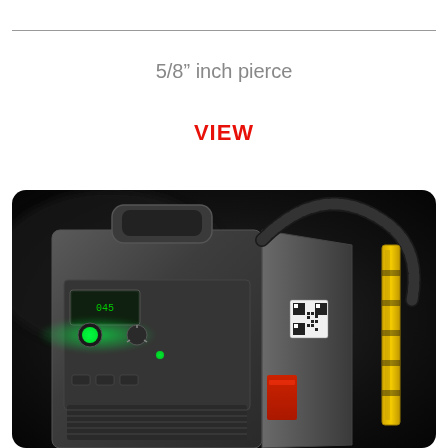5/8" inch pierce
VIEW
[Figure (photo): Close-up photograph of a plasma cutter / welding machine unit shown from the front-left angle. The machine is dark grey/charcoal colored with a carry handle on top, a green indicator light glowing on the front panel, a small LCD display, control knobs and selector switches, ventilation grilles at the bottom, a QR code label on the side, and a black flexible hose/cable arching from the top. A yellow and black torch/nozzle is visible at the right edge. The background is dark/black with bokeh effect.]